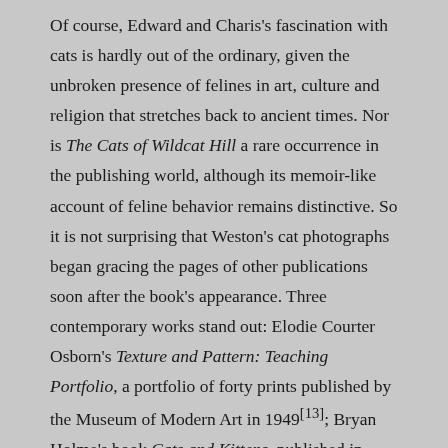Of course, Edward and Charis's fascination with cats is hardly out of the ordinary, given the unbroken presence of felines in art, culture and religion that stretches back to ancient times. Nor is The Cats of Wildcat Hill a rare occurrence in the publishing world, although its memoir-like account of feline behavior remains distinctive. So it is not surprising that Weston's cat photographs began gracing the pages of other publications soon after the book's appearance. Three contemporary works stand out: Elodie Courter Osborn's Texture and Pattern: Teaching Portfolio, a portfolio of forty prints published by the Museum of Modern Art in 1949[13]; Bryan Holme's book Cats and Kittens, published in 1950; and the related Cats Engagement Calendar for 1954. In his "Foreword" to Cats and Kittens, Holme makes the following observation regarding